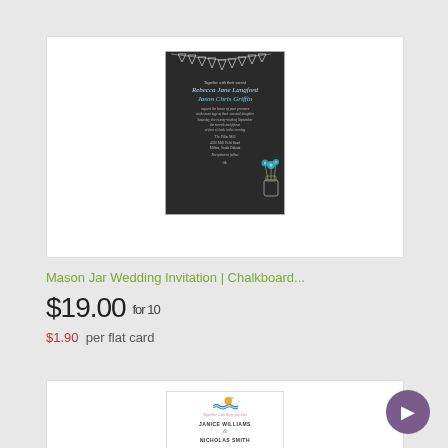[Figure (photo): Mason jar chalkboard wedding invitation card image showing lace bunting, teal flowers in mason jar, chalk-style script text with couple names Rebecca Jane Langford and Jason Chris Griffin on dark chalkboard background]
Mason Jar Wedding Invitation | Chalkboard...
$19.00 for 10
$1.90  per flat card
[Figure (photo): Beach/ocean themed wedding invitation showing sun and waves logo, text: Together with their families, JANICE WILLIAMS & NICHOLAS SMITH]